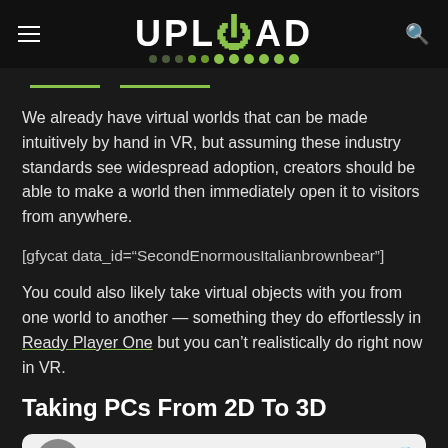UPLOAD
We already have virtual worlds that can be made intuitively by hand in VR, but assuming these industry standards see widespread adoption, creators should be able to make a world then immediately open it to visitors from anywhere.
[gfycat data_id="SecondEnormousItalianbrownbear"]
You could also likely take virtual objects with you from one world to another — something they do effortlessly in Ready Player One but you can't realistically do right now in VR.
Taking PCs From 2D To 3D
Ian Hamilton